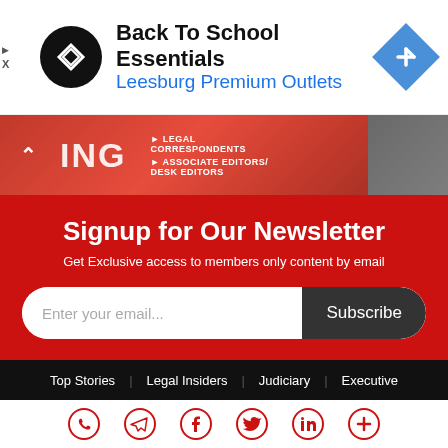[Figure (other): Advertisement banner for Back To School Essentials at Leesburg Premium Outlets with logo and navigation arrow]
[Figure (other): Red banner strip with partial text ING, legal correspondents and associate editors/desk editors links, and a thumbnail image]
Signup for Our Newsletter
Get Exclusive access to members only content by email
Enter your email...
Subscribe
Top Stories | Legal Insiders | Judiciary | Executive
[Figure (other): Social media icons row: WhatsApp, Telegram, Facebook, Twitter, LinkedIn, More]